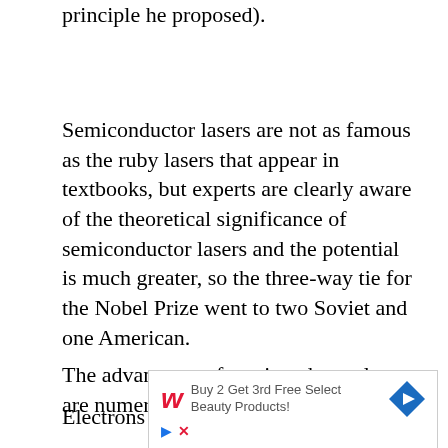principle he proposed).
Semiconductor lasers are not as famous as the ruby lasers that appear in textbooks, but experts are clearly aware of the theoretical significance of semiconductor lasers and the potential is much greater, so the three-way tie for the Nobel Prize went to two Soviet and one American.
The advantages of semiconductor lasers are numerous:
Electrons li...
[Figure (other): Walgreens advertisement: Buy 2 Get 3rd Free Select Beauty Products! with Walgreens cursive W logo and blue diamond arrow icon, with play and close controls.]